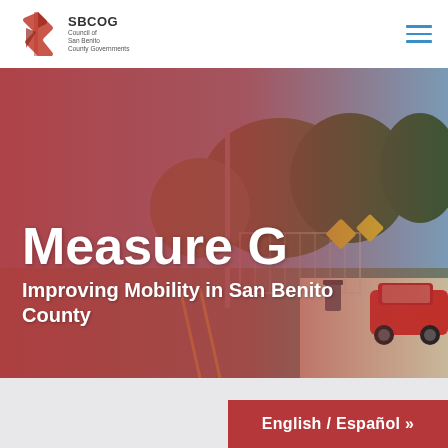SBCOG Council of San Benito County Governments
[Figure (screenshot): SBCOG website screenshot showing Measure G hero banner with street scene background. Large white bold text reads 'Measure G' and below it 'Improving Mobility in San Benito County'. The background is a street photo with a red color overlay on the left fading to a full photo on the right showing a road, trees, fence, signs, and a red car.]
Measure G
Improving Mobility in San Benito County
English / Español »